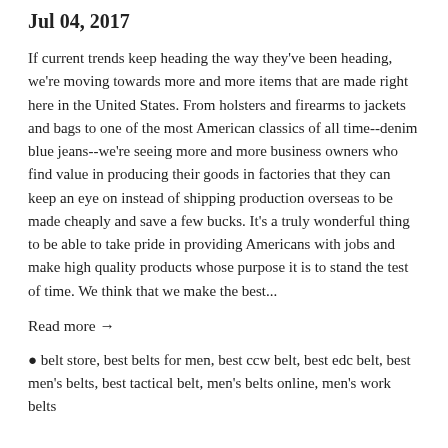Jul 04, 2017
If current trends keep heading the way they've been heading, we're moving towards more and more items that are made right here in the United States. From holsters and firearms to jackets and bags to one of the most American classics of all time--denim blue jeans--we're seeing more and more business owners who find value in producing their goods in factories that they can keep an eye on instead of shipping production overseas to be made cheaply and save a few bucks. It's a truly wonderful thing to be able to take pride in providing Americans with jobs and make high quality products whose purpose it is to stand the test of time. We think that we make the best...
Read more →
belt store, best belts for men, best ccw belt, best edc belt, best men's belts, best tactical belt, men's belts online, men's work belts